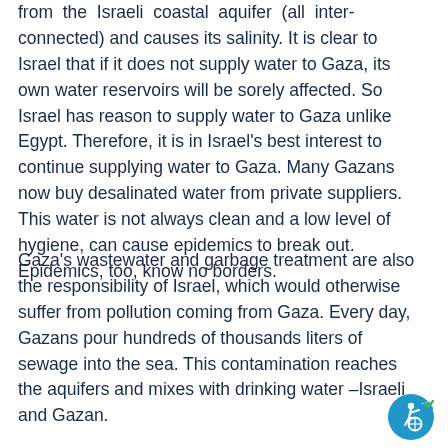from the Israeli coastal aquifer (all inter-connected) and causes its salinity. It is clear to Israel that if it does not supply water to Gaza, its own water reservoirs will be sorely affected. So Israel has reason to supply water to Gaza unlike Egypt. Therefore, it is in Israel's best interest to continue supplying water to Gaza. Many Gazans now buy desalinated water from private suppliers. This water is not always clean and a low level of hygiene, can cause epidemics to break out. Epidemics, too, know no borders.
Gaza's wastewater and garbage treatment are also the responsibility of Israel, which would otherwise suffer from pollution coming from Gaza. Every day, Gazans pour hundreds of thousands liters of sewage into the sea. This contamination reaches the aquifers and mixes with drinking water –Israeli and Gazan.